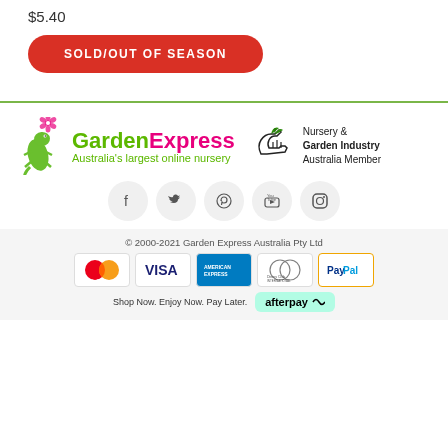$5.40
SOLD/OUT OF SEASON
[Figure (logo): GardenExpress logo with flower graphic, green and pink text reading 'GardenExpress', tagline 'Australia's largest online nursery']
[Figure (logo): Nursery & Garden Industry Australia Member badge with leaf/hand icon]
[Figure (logo): Social media icons row: Facebook, Twitter, Pinterest, YouTube, Instagram]
© 2000-2021 Garden Express Australia Pty Ltd
[Figure (logo): Payment method logos: MasterCard, Visa, American Express, Diners Club International, PayPal]
Shop Now. Enjoy Now. Pay Later.
[Figure (logo): Afterpay logo badge]